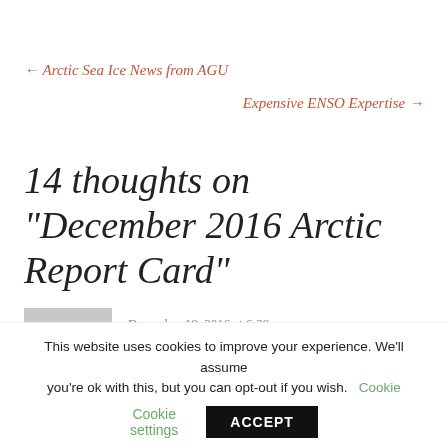← Arctic Sea Ice News from AGU
Expensive ENSO Expertise →
14 thoughts on "December 2016 Arctic Report Card"
December 18, 2016 at 6:28 am
good work Jim. I have been following Neven
This website uses cookies to improve your experience. We'll assume you're ok with this, but you can opt-out if you wish. Cookie settings ACCEPT